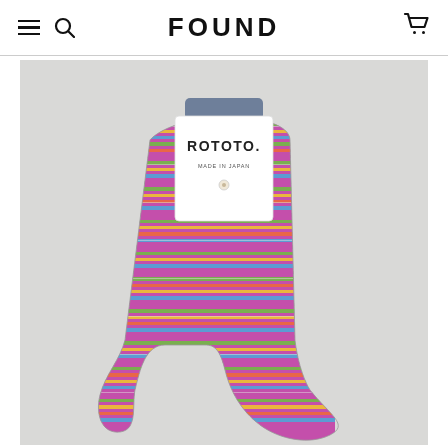FOUND
[Figure (photo): Product photo of ROTOTO brand ankle socks with multicolor rainbow stripe pattern and metallic lurex threads, displayed flat on a light gray background with the ROTOTO brand tag attached at top.]